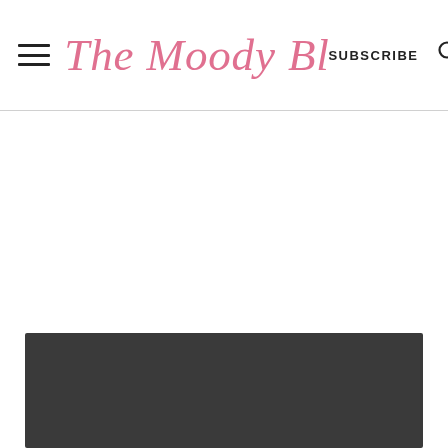The Moody Blonde — SUBSCRIBE
[Figure (photo): Dark gray/charcoal rectangular image area at the bottom of the page]